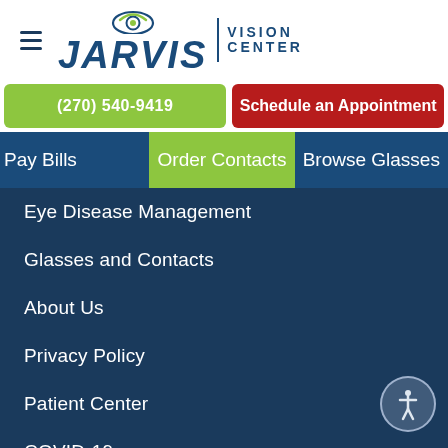[Figure (logo): Jarvis Vision Center logo with eye graphic and hamburger menu icon]
(270) 540-9419
Schedule an Appointment
Pay Bills
Order Contacts
Browse Glasses
Eye Disease Management
Glasses and Contacts
About Us
Privacy Policy
Patient Center
COVID-19
Bill Pay